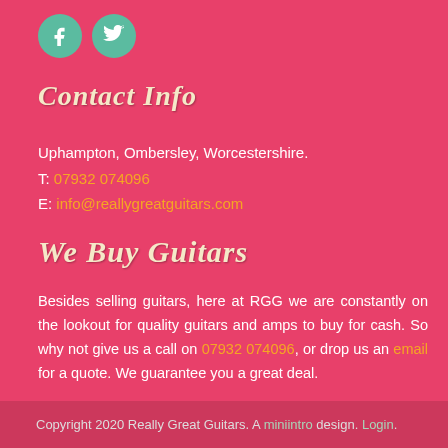[Figure (illustration): Two circular social media icons (Facebook and Twitter) with teal/green background]
Contact Info
Uphampton, Ombersley, Worcestershire.
T: 07932 074096
E: info@reallygreatguitars.com
We Buy Guitars
Besides selling guitars, here at RGG we are constantly on the lookout for quality guitars and amps to buy for cash. So why not give us a call on 07932 074096, or drop us an email for a quote. We guarantee you a great deal.
Copyright 2020 Really Great Guitars. A miniintro design. Login.